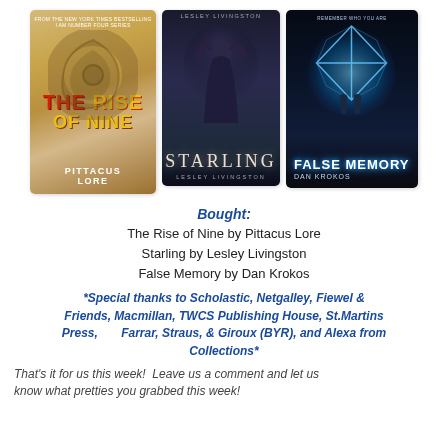[Figure (illustration): Three book covers side by side: 'The Rise of Nine by Pittacus Lore' (sandy swirl background with red/yellow title), 'Starling by Lesley Livingston' (dark blue/purple with young woman), 'False Memory by Dan Krokos' (dark night scene with glowing blue cube)]
Bought:
The Rise of Nine by Pittacus Lore
Starling by Lesley Livingston
False Memory by Dan Krokos
*Special thanks to Scholastic, Netgalley, Fiewel & Friends, Macmillan, TWCS Publishing House, St.Martins Press,      Farrar, Straus, & Giroux (BYR), and Alexa from Collections*
That's it for us this week!  Leave us a comment and let us know what pretties you grabbed this week!